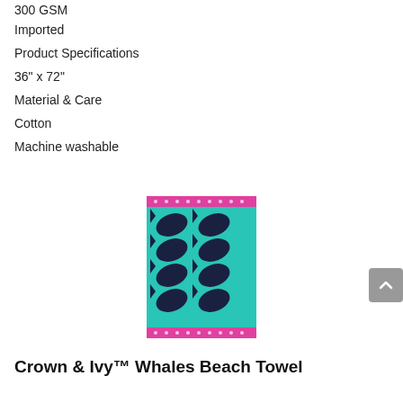300 GSM
Imported
Product Specifications
36" x 72"
Material & Care
Cotton
Machine washable
[Figure (photo): Crown & Ivy Whales Beach Towel product image showing a teal/turquoise towel with dark navy whale pattern and pink border at top and bottom]
Crown & Ivy™ Whales Beach Towel